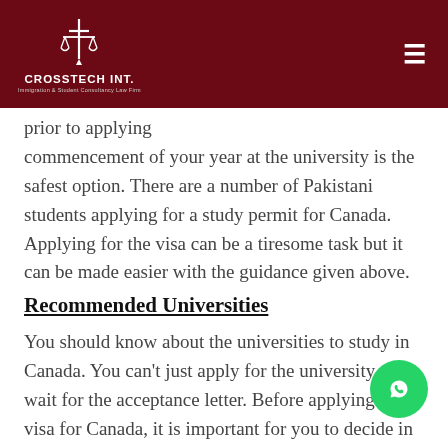[Figure (logo): Crosstech Int. logo with scales of justice icon on dark red header bar]
prior to applying … commencement of your year at the university is the safest option. There are a number of Pakistani students applying for a study permit for Canada. Applying for the visa can be a tiresome task but it can be made easier with the guidance given above.
Recommended Universities
You should know about the universities to study in Canada. You can't just apply for the university and wait for the acceptance letter. Before applying study visa for Canada, it is important for you to decide in which university you are looking for…